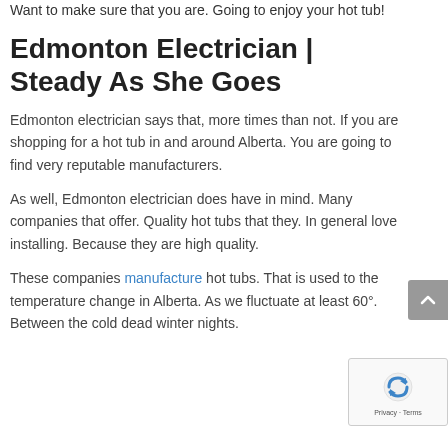Want to make sure that you are. Going to enjoy your hot tub!
Edmonton Electrician | Steady As She Goes
Edmonton electrician says that, more times than not. If you are shopping for a hot tub in and around Alberta. You are going to find very reputable manufacturers.
As well, Edmonton electrician does have in mind. Many companies that offer. Quality hot tubs that they. In general love installing. Because they are high quality.
These companies manufacture hot tubs. That is used to the temperature change in Alberta. As we fluctuate at least 60°. Between the cold dead winter nights.